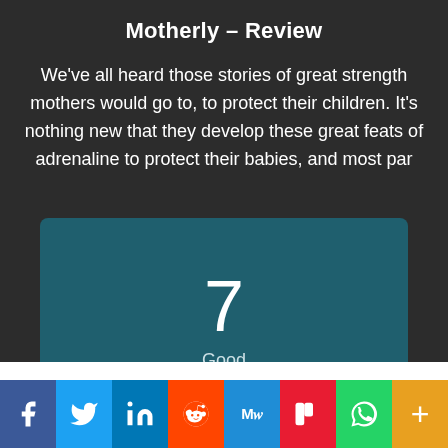Motherly – Review
We've all heard those stories of great strength mothers would go to, to protect their children. It's nothing new that they develop these great feats of adrenaline to protect their babies, and most par
[Figure (infographic): Score box showing the number 7 with label 'Good' on a dark teal background]
[Figure (infographic): Social share bar with icons for Facebook, Twitter, LinkedIn, Reddit, MeWe, Mix, WhatsApp, and a plus/more button]